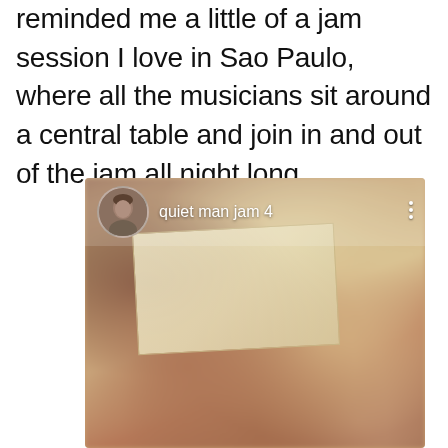reminded me a little of a jam session I love in Sao Paulo, where all the musicians sit around a central table and join in and out of the jam all night long.
[Figure (screenshot): A blurry video thumbnail or screenshot showing a close-up photo of a person's head/face out of focus, with a sheet of paper visible in the background. Overlaid on top is a social media video header showing a circular avatar of a middle-aged man, the username 'quiet man jam 4', and a vertical three-dot menu icon.]